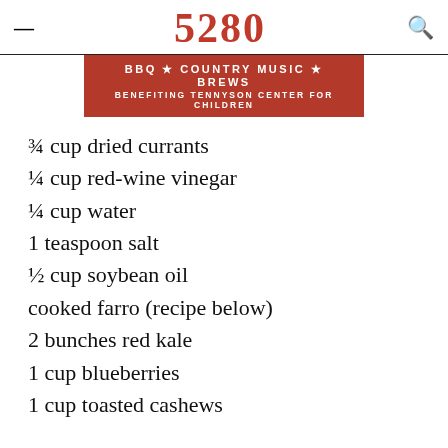5280
[Figure (illustration): Red banner advertisement for BBQ, Country Music, Brews event benefiting Tennyson Center for Children, with 5280 magazine logo at top]
¾ cup dried currants
¼ cup red-wine vinegar
¼ cup water
1 teaspoon salt
½ cup soybean oil
cooked farro (recipe below)
2 bunches red kale
1 cup blueberries
1 cup toasted cashews